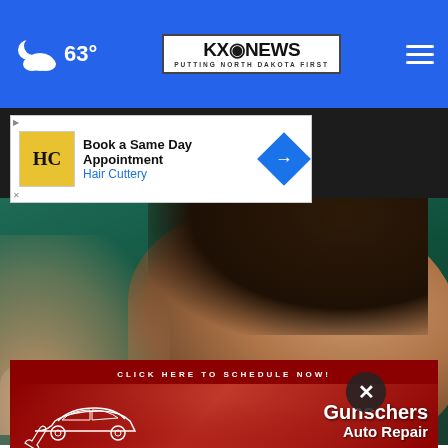KXO News — Putting North Dakota First | 63°
[Figure (screenshot): Hair Cuttery advertisement: Book a Same Day Appointment]
[Figure (photo): Close-up photo of a young girl looking upward against a teal/green background]
[Figure (screenshot): Gunschers Auto Repair advertisement: Click Here To Schedule Now!]